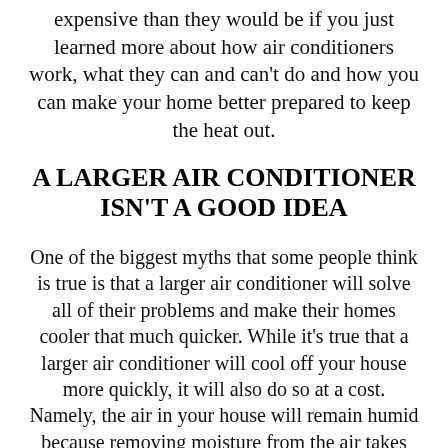expensive than they would be if you just learned more about how air conditioners work, what they can and can't do and how you can make your home better prepared to keep the heat out.
A LARGER AIR CONDITIONER ISN'T A GOOD IDEA
One of the biggest myths that some people think is true is that a larger air conditioner will solve all of their problems and make their homes cooler that much quicker. While it's true that a larger air conditioner will cool off your house more quickly, it will also do so at a cost. Namely, the air in your house will remain humid because removing moisture from the air takes several cycles. When the air conditioner is so large that it cuts down on the cooling time, it also doesn't have enough cycles to pull all of the moisture out of the air, which results in a cool but